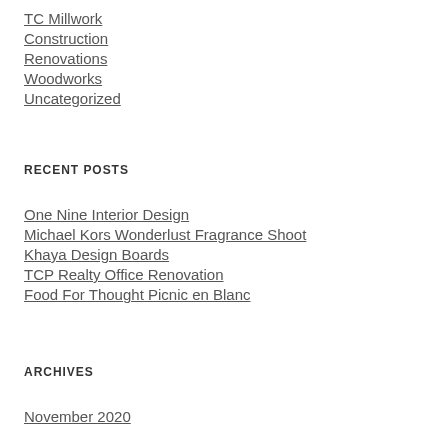TC Millwork
Construction
Renovations
Woodworks
Uncategorized
RECENT POSTS
One Nine Interior Design
Michael Kors Wonderlust Fragrance Shoot
Khaya Design Boards
TCP Realty Office Renovation
Food For Thought Picnic en Blanc
ARCHIVES
November 2020